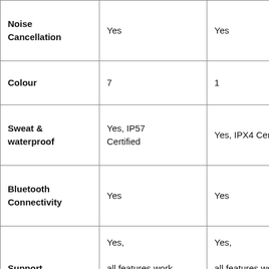| Feature | Product 1 | Product 2 |
| --- | --- | --- |
| Noise Cancellation | Yes | Yes |
| Colour | 7 | 1 |
| Sweat & waterproof | Yes, IP57 Certified | Yes, IPX4 Certified |
| Bluetooth Connectivity | Yes | Yes |
| Support | Yes, all features work with all types of phones | Yes, all features work with all types of phones |
| Touch Control | No | Yes |